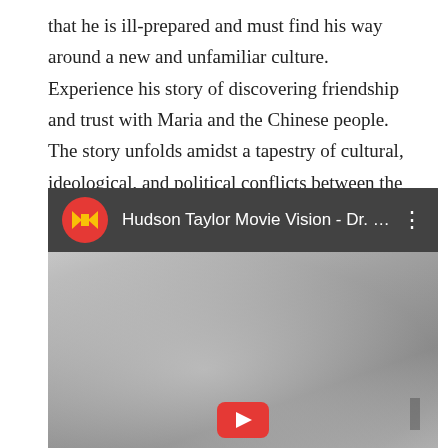that he is ill-prepared and must find his way around a new and unfamiliar culture. Experience his story of discovering friendship and trust with Maria and the Chinese people. The story unfolds amidst a tapestry of cultural, ideological, and political conflicts between the East and the West.
[Figure (screenshot): A screenshot of a video player showing 'Hudson Taylor Movie Vision - Dr. P...' with a red and yellow logo icon on a dark header bar, and a grey/foggy landscape video thumbnail below.]